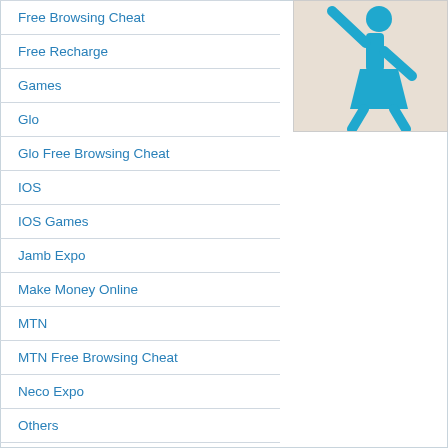Free Browsing Cheat
[Figure (illustration): Blue stick figure of a person (female) with one arm raised, on a beige/tan background]
Free Recharge
Games
Glo
Glo Free Browsing Cheat
IOS
IOS Games
Jamb Expo
Make Money Online
MTN
MTN Free Browsing Cheat
Neco Expo
Others
PC
Phone Review